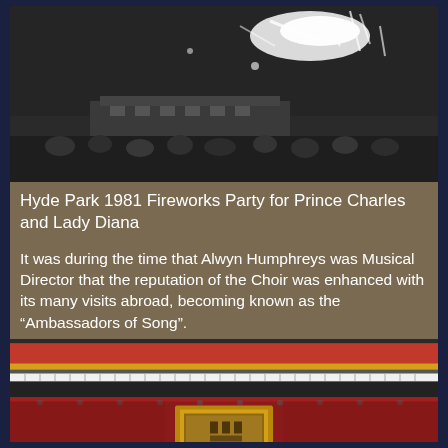[Figure (photo): Black and white photograph of the Hyde Park 1981 Fireworks Party for Prince Charles and Lady Diana, showing fireworks in the sky and a crowd with a building in the background.]
Hyde Park 1981 Fireworks Party for Prince Charles and Lady Diana
It was during the time that Alwyn Humphreys was Musical Director that the reputation of the Choir was enhanced with its many visits abroad, becoming known as the “Ambassadors of Song”.
[Figure (photo): Colour photograph of a traditional Chinese temple or building facade with ornate red and gold roof tiles, decorative eaves, and a gilded doorway or plaque in the centre.]